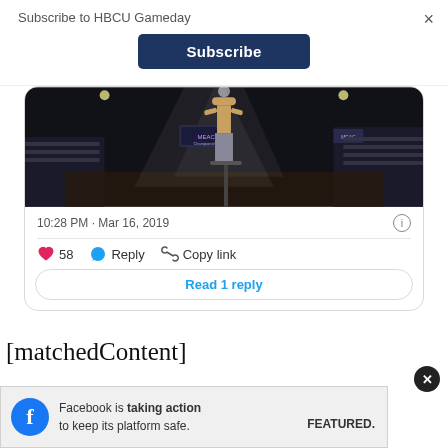Subscribe to HBCU Gameday
Subscribe
[Figure (photo): Basketball arena scene viewed from court level, player standing near basket, arena seating and scoreboards visible in background]
10:28 PM · Mar 16, 2019
58  Reply  Copy link
Read 1 reply
[matchedContent]
Facebook is taking action to keep its platform safe.
FEATURED.